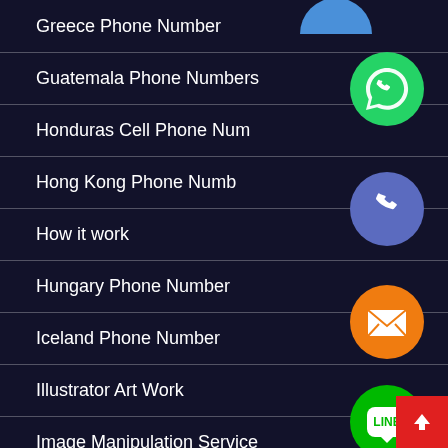Greece Phone Number
Guatemala Phone Numbers
Honduras Cell Phone Nu…
Hong Kong Phone Numb…
How it work
Hungary Phone Number
Iceland Phone Number
Illustrator Art Work
Image Manipulation Service
[Figure (illustration): Floating social media and communication app icons: WhatsApp (green), Phone/Viber (blue-purple), Email/envelope (orange), LINE (green), Viber (purple), Close/X (green). Plus a red back-to-top button in bottom right corner.]